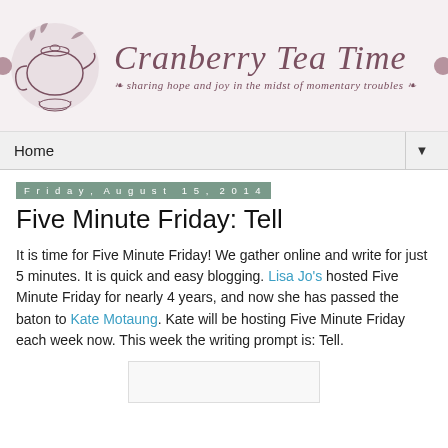[Figure (illustration): Cranberry Tea Time blog header banner with a vintage teapot illustration on the left and script text reading 'Cranberry Tea Time' with subtitle 'sharing hope and joy in the midst of momentary troubles']
Home ▼
Friday, August 15, 2014
Five Minute Friday: Tell
It is time for Five Minute Friday! We gather online and write for just 5 minutes. It is quick and easy blogging. Lisa Jo's hosted Five Minute Friday for nearly 4 years, and now she has passed the baton to Kate Motaung. Kate will be hosting Five Minute Friday each week now. This week the writing prompt is: Tell.